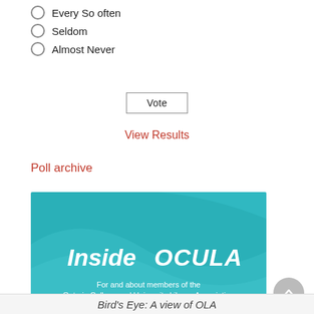Every So often
Seldom
Almost Never
Vote
View Results
Poll archive
[Figure (illustration): InsideOCULA banner — teal background with wave design, text: 'InsideOCULA' and 'For and about members of the Ontario College and University Library Association']
Bird's Eye: A view of OLA